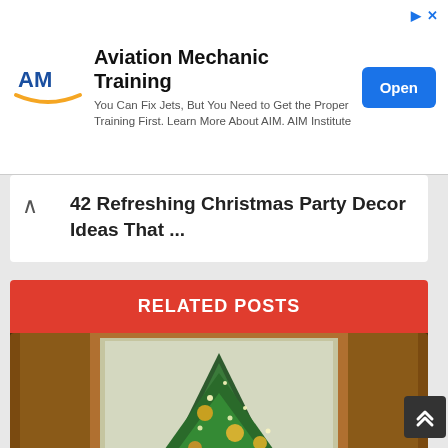[Figure (screenshot): Advertisement banner for Aviation Mechanic Training by AIM Institute. Shows AM logo, title 'Aviation Mechanic Training', description text 'You Can Fix Jets, But You Need to Get the Proper Training First. Learn More About AIM. AIM Institute', and a blue 'Open' button. Two small icons in the top right corner.]
42 Refreshing Christmas Party Decor Ideas That ...
RELATED POSTS
[Figure (photo): Photo of a decorated Christmas tree with golden ornaments, set in front of brown/gold curtains, framed by an ornate gold picture frame.]